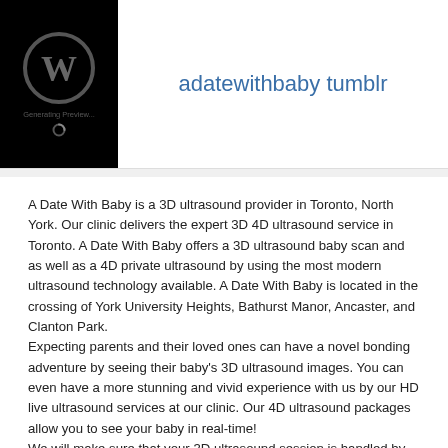[Figure (logo): WordPress logo on black background with loading text 'Generating Preview...' and spinner]
adatewithbaby tumblr
A Date With Baby is a 3D ultrasound provider in Toronto, North York. Our clinic delivers the expert 3D 4D ultrasound service in Toronto. A Date With Baby offers a 3D ultrasound baby scan and as well as a 4D private ultrasound by using the most modern ultrasound technology available. A Date With Baby is located in the crossing of York University Heights, Bathurst Manor, Ancaster, and Clanton Park.
Expecting parents and their loved ones can have a novel bonding adventure by seeing their baby's 3D ultrasound images. You can even have a more stunning and vivid experience with us by our HD live ultrasound services at our clinic. Our 4D ultrasound packages allow you to see your baby in real-time!
We will make sure that your 3D ultrasound session is handled by our professional sonographers and you experience the highest quality service in Toronto.
At A Date With Baby, our Toronto 3D ultrasound sonographers will help you with all kinds of ultrasound related objectives. Our